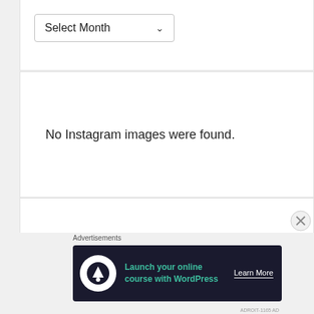[Figure (screenshot): A dropdown/select element labeled 'Select Month' with a downward chevron arrow, shown in a white card section.]
No Instagram images were found.
No Instagram images were found.
Advertisements
[Figure (screenshot): Advertisement banner with dark background showing an icon and text: 'Launch your online course with WordPress' with a 'Learn More' button.]